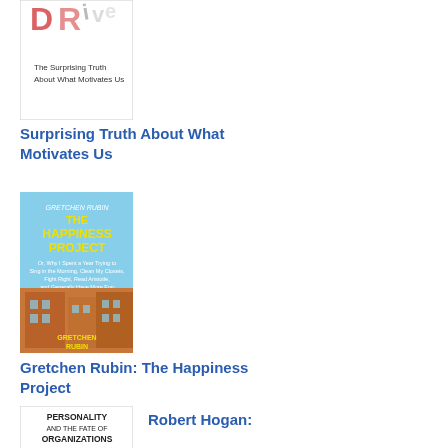[Figure (photo): Book cover: Drive - The Surprising Truth About What Motivates Us]
Surprising Truth About What Motivates Us
[Figure (photo): Book cover: The Happiness Project by Gretchen Rubin, featuring teal background with brownstone buildings]
Gretchen Rubin: The Happiness Project
[Figure (photo): Book cover: Personality and The Fate of Organizations by Robert Hogan, featuring grid of portrait illustrations]
Robert Hogan: